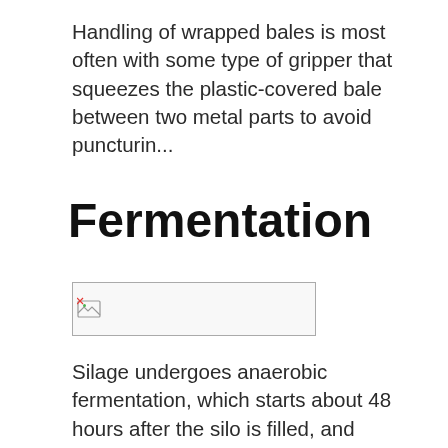Handling of wrapped bales is most often with some type of gripper that squeezes the plastic-covered bale between two metal parts to avoid puncturin...
Fermentation
[Figure (photo): Broken/unloaded image placeholder for a fermentation-related photograph]
Silage undergoes anaerobic fermentation, which starts about 48 hours after the silo is filled, and converts sugars to acids. Fermentation is essentially complete after about two weeks.
Before anaerobic fermentation starts, there